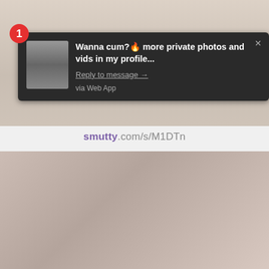[Figure (screenshot): Blurred background image at top of page, showing a person with blonde hair]
1
[Figure (photo): Small avatar thumbnail of a person in the notification]
Wanna cum?🔥 more private photos and vids in my profile...
Reply to message →
via Web App
smutty.com/s/M1DTn
[Figure (photo): Blurred photo of a person with glasses lying down, lower half of page]